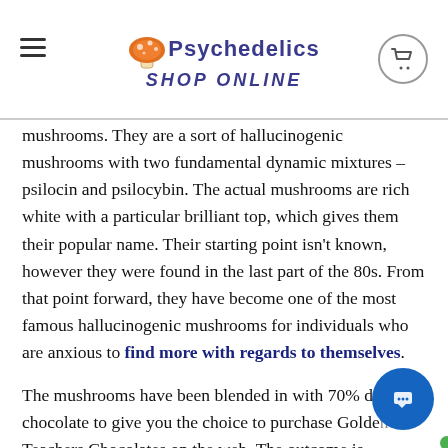Psychedelics Shop Online
mushrooms. They are a sort of hallucinogenic mushrooms with two fundamental dynamic mixtures – psilocin and psilocybin. The actual mushrooms are rich white with a particular brilliant top, which gives them their popular name. Their starting point isn't known, however they were found in the last part of the 80s. From that point forward, they have become one of the most famous hallucinogenic mushrooms for individuals who are anxious to find more with regards to themselves.
The mushrooms have been blended in with 70% dim chocolate to give you the choice to purchase Golden Teachers Chocolates on the web. The outcome is flavorful chocolate formed like a bloom. You will track